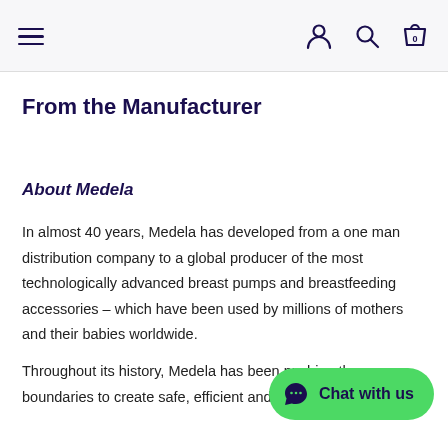≡  [user icon] [search icon] [cart icon with 0]
From the Manufacturer
About Medela
In almost 40 years, Medela has developed from a one man distribution company to a global producer of the most technologically advanced breast pumps and breastfeeding accessories – which have been used by millions of mothers and their babies worldwide.
Throughout its history, Medela has been pushing the boundaries to create safe, efficient and best-selling